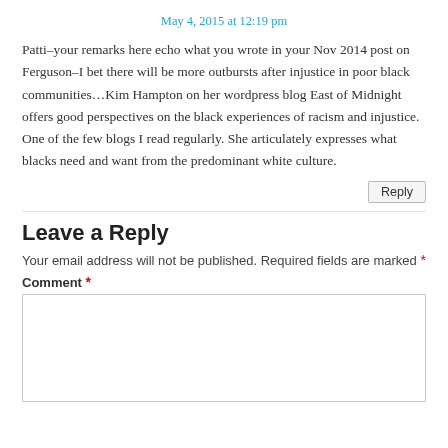May 4, 2015 at 12:19 pm
Patti–your remarks here echo what you wrote in your Nov 2014 post on Ferguson–I bet there will be more outbursts after injustice in poor black communities…Kim Hampton on her wordpress blog East of Midnight offers good perspectives on the black experiences of racism and injustice. One of the few blogs I read regularly. She articulately expresses what blacks need and want from the predominant white culture.
Reply
Leave a Reply
Your email address will not be published. Required fields are marked *
Comment *